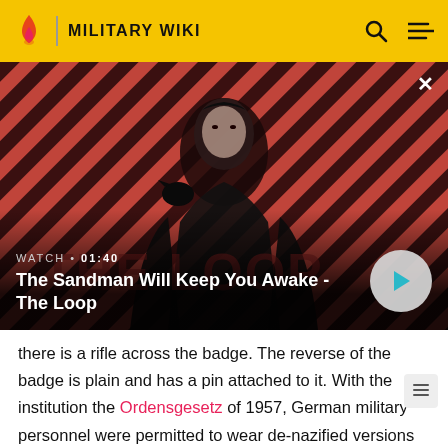MILITARY WIKI
[Figure (screenshot): Video thumbnail showing a dark figure with a raven on shoulder against a red diagonal striped background. Video title: 'The Sandman Will Keep You Awake - The Loop'. Watch duration: 01:40. Play button on right.]
there is a rifle across the badge. The reverse of the badge is plain and has a pin attached to it. With the institution the Ordensgesetz of 1957, German military personnel were permitted to wear de-nazified versions of German decorations. Also the Infanterie- Sturmabzeichen was